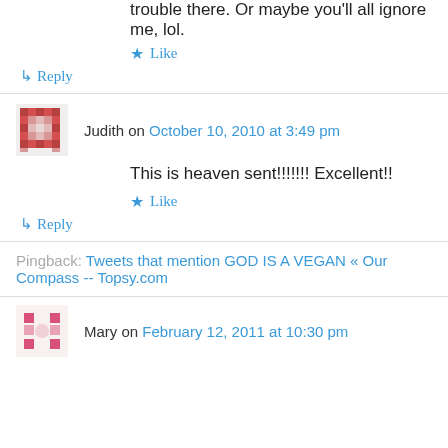trouble there. Or maybe you'll all ignore me, lol.
★ Like
↳ Reply
Judith on October 10, 2010 at 3:49 pm
This is heaven sent!!!!!!! Excellent!!
★ Like
↳ Reply
Pingback: Tweets that mention GOD IS A VEGAN « Our Compass -- Topsy.com
Mary on February 12, 2011 at 10:30 pm